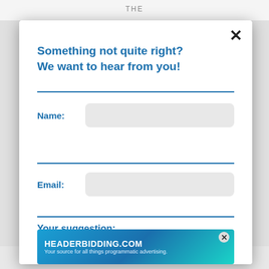Something not quite right?
We want to hear from you!
Name:
Email:
Your suggestion:
Correction on page: Vincent van Gogh
Please fix:
[Figure (screenshot): Advertisement banner for HEADERBIDDING.COM — 'Your source for all things programmatic advertising.']